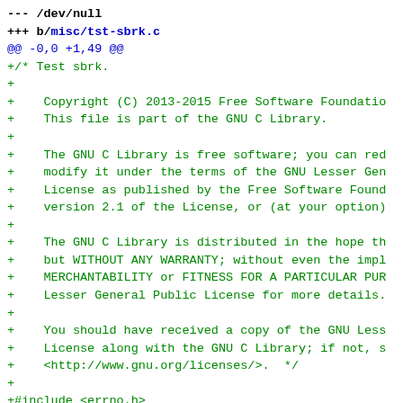--- /dev/null
+++ b/misc/tst-sbrk.c
@@ -0,0 +1,49 @@
+/* Test sbrk.
+
+    Copyright (C) 2013-2015 Free Software Foundatio
+    This file is part of the GNU C Library.
+
+    The GNU C Library is free software; you can red
+    modify it under the terms of the GNU Lesser Gen
+    License as published by the Free Software Found
+    version 2.1 of the License, or (at your option)
+
+    The GNU C Library is distributed in the hope th
+    but WITHOUT ANY WARRANTY; without even the impl
+    MERCHANTABILITY or FITNESS FOR A PARTICULAR PUR
+    Lesser General Public License for more details.
+
+    You should have received a copy of the GNU Less
+    License along with the GNU C Library; if not, s
+    <http://www.gnu.org/licenses/>.  */
+
+#include <errno.h>
+#include <stdio.h>
+#include <unistd.h>
+
+static int
+do_test (void)
+{
+  /* Try to advance the program break by 1 MiB. *